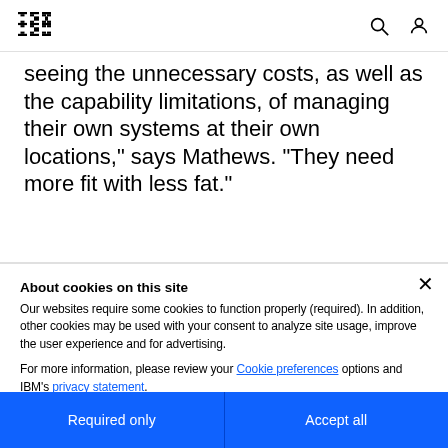IBM [logo] [search icon] [user icon]
seeing the unnecessary costs, as well as the capability limitations, of managing their own systems at their own locations," says Mathews. "They need more fit with less fat."
About cookies on this site
Our websites require some cookies to function properly (required). In addition, other cookies may be used with your consent to analyze site usage, improve the user experience and for advertising.

For more information, please review your Cookie preferences options and IBM's privacy statement.
Required only | Accept all